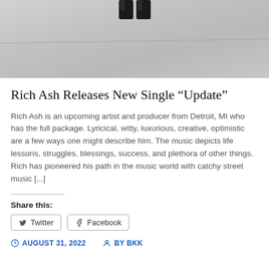[Figure (photo): Photo showing lower legs/feet in black shoes standing on concrete pavement with a crack running across.]
Rich Ash Releases New Single “Update”
Rich Ash is an upcoming artist and producer from Detroit, MI who has the full package. Lyricical, witty, luxurious, creative, optimistic are a few ways one might describe him. The music depicts life lessons, struggles, blessings, success, and plethora of other things. Rich has pioneered his path in the music world with catchy street music [...]
Share this:
Twitter  Facebook
AUGUST 31, 2022   BY BKK